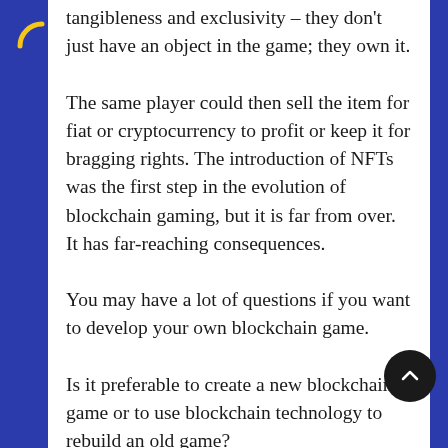tangibleness and exclusivity – they don't just have an object in the game; they own it.
The same player could then sell the item for fiat or cryptocurrency to profit or keep it for bragging rights. The introduction of NFTs was the first step in the evolution of blockchain gaming, but it is far from over. It has far-reaching consequences.
You may have a lot of questions if you want to develop your own blockchain game.
Is it preferable to create a new blockchain game or to use blockchain technology to rebuild an old game?
It is totally up to you to build a new blockchain game or alter an existing conventional match. Let me first